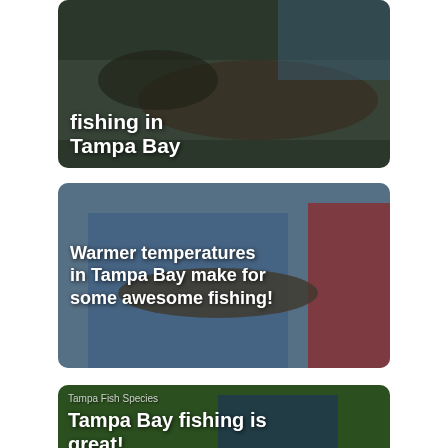[Figure (photo): Fishing photo showing a large fish with text overlay 'fishing in Tampa Bay', partially cropped at top]
[Figure (photo): Photo of people holding a large fish with text overlay 'Warmer temperatures in Tampa Bay make for some awesome fishing!']
[Figure (photo): Photo of person holding a large fish outdoors with category label 'Tampa Fish Species' and text 'Tampa Bay fishing is great!']
[Figure (photo): Partially visible photo at bottom with text 'The new year starts on']